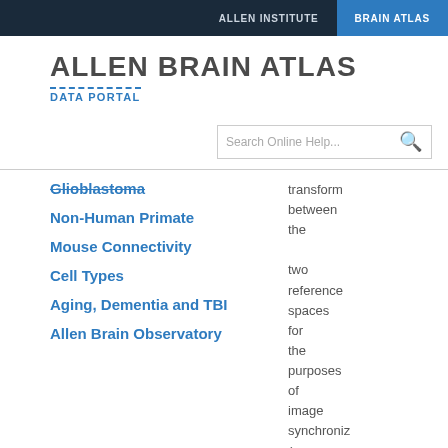ALLEN INSTITUTE   BRAIN ATLAS
ALLEN BRAIN ATLAS
DATA PORTAL
[Figure (screenshot): Search box with placeholder text 'Search Online Help...' and a search icon]
Glioblastoma
Non-Human Primate
Mouse Connectivity
Cell Types
Aging, Dementia and TBI
Allen Brain Observatory
transform between the two reference spaces for the purposes of image synchroniz (see